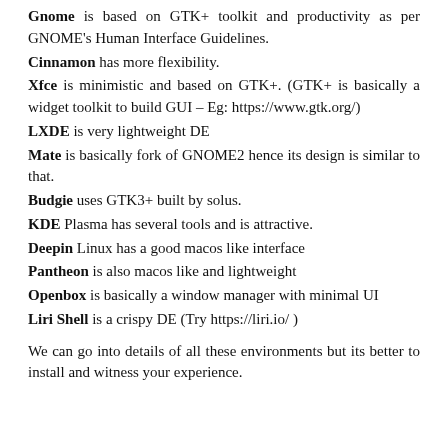Gnome is based on GTK+ toolkit and productivity as per GNOME's Human Interface Guidelines.
Cinnamon has more flexibility.
Xfce is minimistic and based on GTK+. (GTK+ is basically a widget toolkit to build GUI – Eg: https://www.gtk.org/)
LXDE is very lightweight DE
Mate is basically fork of GNOME2 hence its design is similar to that.
Budgie uses GTK3+ built by solus.
KDE Plasma has several tools and is attractive.
Deepin Linux has a good macos like interface
Pantheon is also macos like and lightweight
Openbox is basically a window manager with minimal UI
Liri Shell is a crispy DE (Try https://liri.io/ )
We can go into details of all these environments but its better to install and witness your experience.